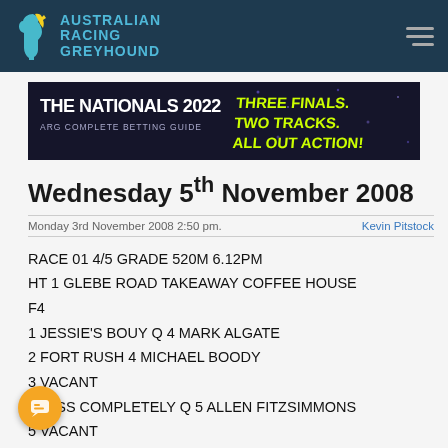AUSTRALIAN RACING GREYHOUND
[Figure (infographic): The Nationals 2022 ARG Complete Betting Guide banner — THREE FINALS. TWO TRACKS. ALL OUT ACTION!]
Wednesday 5th November 2008
Monday 3rd November 2008 2:50 pm.    Kevin Pitstock
RACE 01 4/5 GRADE 520M 6.12PM
HT 1 GLEBE ROAD TAKEAWAY COFFEE HOUSE
F4
1 JESSIE'S BOUY Q 4 MARK ALGATE
2 FORT RUSH 4 MICHAEL BOODY
3 VACANT
4 MISS COMPLETELY Q 5 ALLEN FITZSIMMONS
5 VACANT